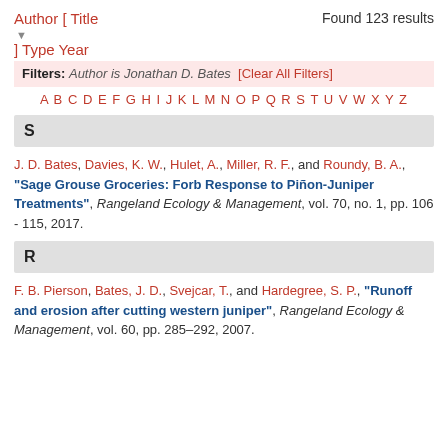Author [ Title   Found 123 results
▼
] Type Year
Filters: Author is Jonathan D. Bates [Clear All Filters]
A B C D E F G H I J K L M N O P Q R S T U V W X Y Z
S
J. D. Bates, Davies, K. W., Hulet, A., Miller, R. F., and Roundy, B. A., "Sage Grouse Groceries: Forb Response to Piñon-Juniper Treatments", Rangeland Ecology & Management, vol. 70, no. 1, pp. 106 - 115, 2017.
R
F. B. Pierson, Bates, J. D., Svejcar, T., and Hardegree, S. P., "Runoff and erosion after cutting western juniper", Rangeland Ecology & Management, vol. 60, pp. 285–292, 2007.